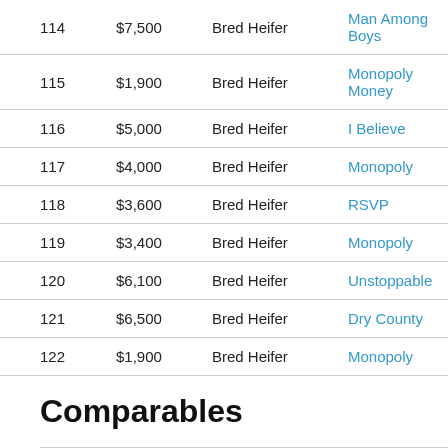|  |  |  |  |
| --- | --- | --- | --- |
| 114 | $7,500 | Bred Heifer | Man Among Boys |
| 115 | $1,900 | Bred Heifer | Monopoly Money |
| 116 | $5,000 | Bred Heifer | I Believe |
| 117 | $4,000 | Bred Heifer | Monopoly |
| 118 | $3,600 | Bred Heifer | RSVP |
| 119 | $3,400 | Bred Heifer | Monopoly |
| 120 | $6,100 | Bred Heifer | Unstoppable |
| 121 | $6,500 | Bred Heifer | Dry County |
| 122 | $1,900 | Bred Heifer | Monopoly |
Comparables